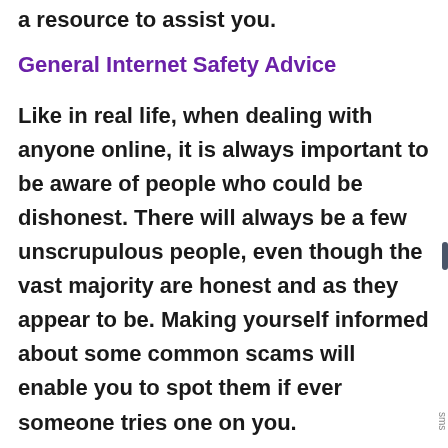a resource to assist you.
General Internet Safety Advice
Like in real life, when dealing with anyone online, it is always important to be aware of people who could be dishonest. There will always be a few unscrupulous people, even though the vast majority are honest and as they appear to be. Making yourself informed about some common scams will enable you to spot them if ever someone tries one on you.
Here are some tips to help you avoid common scams: